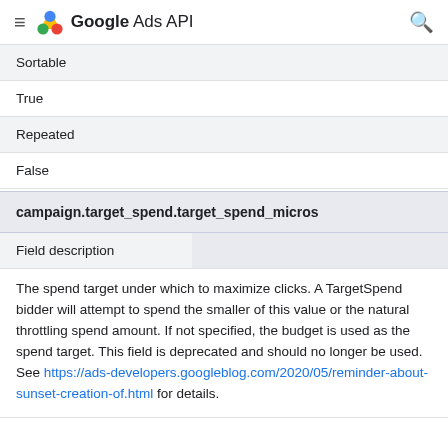Google Ads API
| Sortable |  |
| --- | --- |
| True |  |
| Repeated |  |
| False |  |
campaign.target_spend.target_spend_micros
| Field description |  |
| --- | --- |
The spend target under which to maximize clicks. A TargetSpend bidder will attempt to spend the smaller of this value or the natural throttling spend amount. If not specified, the budget is used as the spend target. This field is deprecated and should no longer be used. See https://ads-developers.googleblog.com/2020/05/reminder-about-sunset-creation-of.html for details.